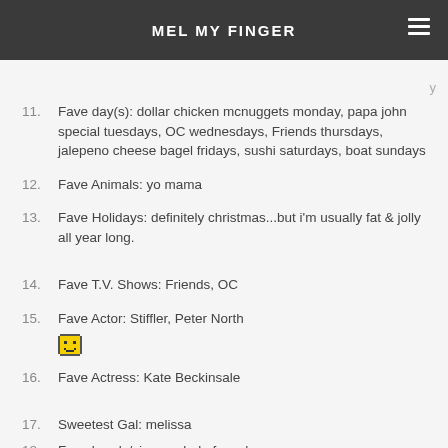Mel My Finger
11. Fave day(s): dollar chicken mcnuggets monday, papa john special tuesdays, OC wednesdays, Friends thursdays, jalepeno cheese bagel fridays, sushi saturdays, boat sundays
12. Fave Animals: yo mama
13. Fave Holidays: definitely christmas...but i'm usually fat & jolly all year long.
14. Fave T.V. Shows: Friends, OC
15. Fave Actor: Stiffler, Peter North
[Figure (illustration): Pixel smiley face emoji]
16. Fave Actress: Kate Beckinsale
17. Sweetest Gal: melissa
18. Fave bands/singers: babyface, 'nsync